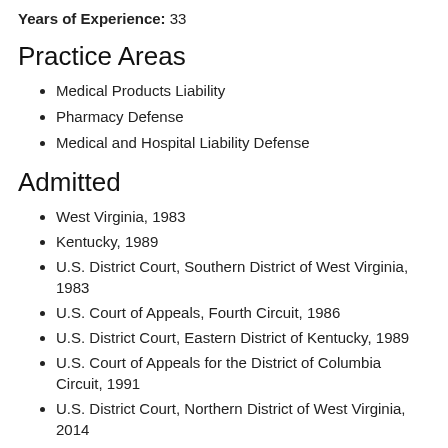Years of Experience: 33
Practice Areas
Medical Products Liability
Pharmacy Defense
Medical and Hospital Liability Defense
Admitted
West Virginia, 1983
Kentucky, 1989
U.S. District Court, Southern District of West Virginia, 1983
U.S. Court of Appeals, Fourth Circuit, 1986
U.S. District Court, Eastern District of Kentucky, 1989
U.S. Court of Appeals for the District of Columbia Circuit, 1991
U.S. District Court, Northern District of West Virginia, 2014